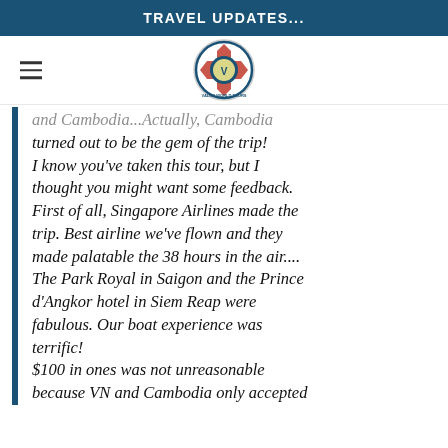TRAVEL UPDATES...
[Figure (logo): Valor World Tours circular logo with red, white and blue shield/crest design]
and Cambodia...Actually, Cambodia turned out to be the gem of the trip! I know you've taken this tour, but I thought you might want some feedback. First of all, Singapore Airlines made the trip. Best airline we've flown and they made palatable the 38 hours in the air.... The Park Royal in Saigon and the Prince d'Angkor hotel in Siem Reap were fabulous. Our boat experience was terrific! $100 in ones was not unreasonable because VN and Cambodia only accepted